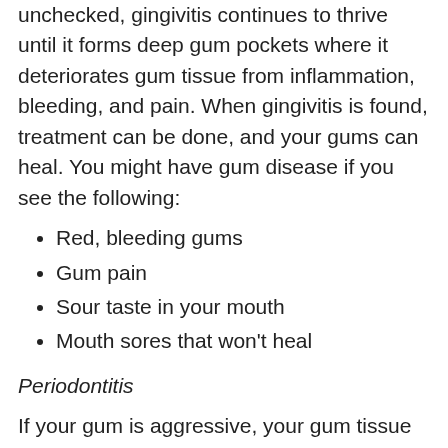unchecked, gingivitis continues to thrive until it forms deep gum pockets where it deteriorates gum tissue from inflammation, bleeding, and pain. When gingivitis is found, treatment can be done, and your gums can heal. You might have gum disease if you see the following:
Red, bleeding gums
Gum pain
Sour taste in your mouth
Mouth sores that won't heal
Periodontitis
If your gum is aggressive, your gum tissue recession steadily worsens. It can also happen in young people because of vitamin deficiency (rather than just bacterial infection). Any advancing gum disease needs